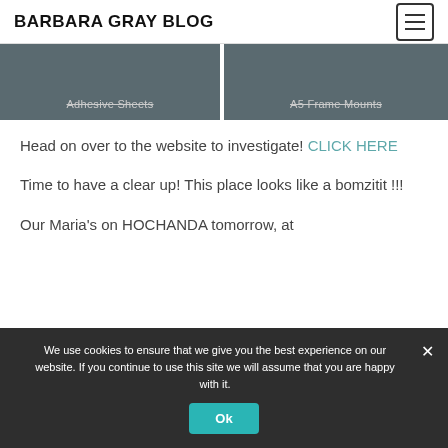BARBARA GRAY BLOG
[Figure (photo): Two product images side by side: left shows 'Adhesive Sheets', right shows 'A5 Frame Mounts', both on dark grey backgrounds]
Head on over to the website to investigate! CLICK HERE
Time to have a clear up! This place looks like a bomzitit !!!
Our Maria's on HOCHANDA tomorrow, at
We use cookies to ensure that we give you the best experience on our website. If you continue to use this site we will assume that you are happy with it.